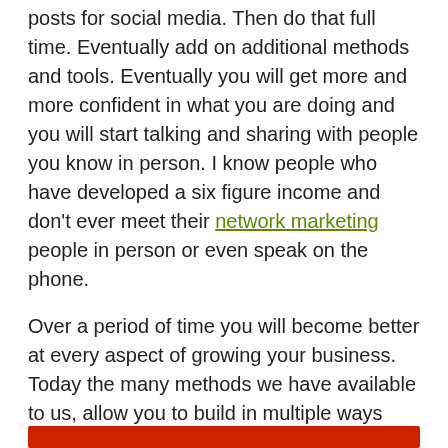posts for social media. Then do that full time. Eventually add on additional methods and tools. Eventually you will get more and more confident in what you are doing and you will start talking and sharing with people you know in person. I know people who have developed a six figure income and don't ever meet their network marketing people in person or even speak on the phone.
Over a period of time you will become better at every aspect of growing your business. Today the many methods we have available to us, allow you to build in multiple ways until we can use all of the methods effectively. I teach my team how to do this every day. If I can learn it so can you.